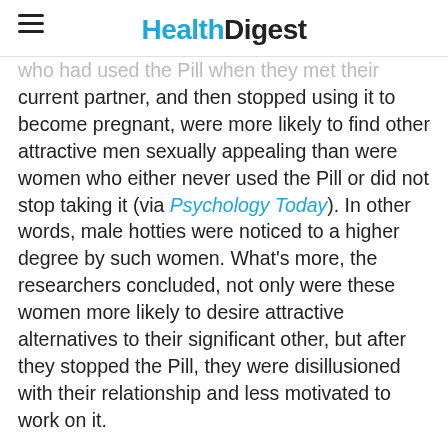Health Digest
who had used the Pill when they met their current partner, and then stopped using it to become pregnant, were more likely to find other attractive men sexually appealing than were women who either never used the Pill or did not stop taking it (via Psychology Today). In other words, male hotties were noticed to a higher degree by such women. What’s more, the researchers concluded, not only were these women more likely to desire attractive alternatives to their significant other, but after they stopped the Pill, they were disillusioned with their relationship and less motivated to work on it.